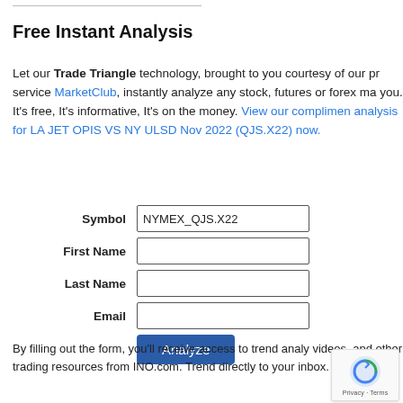Free Instant Analysis
Let our Trade Triangle technology, brought to you courtesy of our premium service MarketClub, instantly analyze any stock, futures or forex market for you. It's free, It's informative, It's on the money. View our complimentary analysis for LA JET OPIS VS NY ULSD Nov 2022 (QJS.X22) now.
[Figure (other): A web form with fields: Symbol (prefilled NYMEX_QJS.X22), First Name, Last Name, Email, and an Analyze button]
By filling out the form, you'll receive access to trend analysis, videos, and other trading resources from INO.com. Trend analysis delivered directly to your inbox.